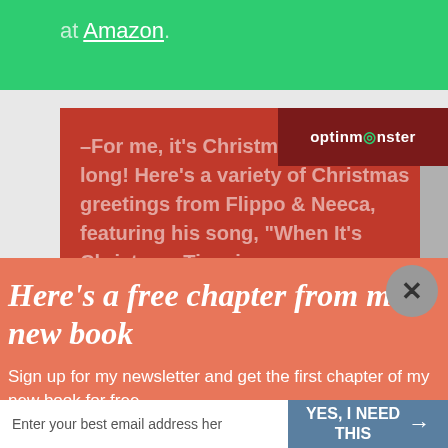at Amazon.
–For me, it's Christmas all year long! Here's a variety of Christmas greetings from Flippo & Neeca, featuring his song, "When It's Christmas Time in Texas" http://youtu.be/twJGHGKU3A
[Figure (logo): OptinMonster badge logo in dark red background]
Here's a free chapter from my new book
Sign up for my newsletter and get the first chapter of my new book for free.
Enter your best email address her
YES, I NEED THIS →